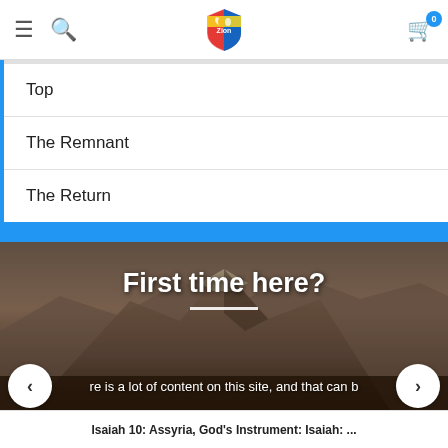Navigation header with hamburger menu, search icon, shield logo, and shopping cart with badge 0
Top
The Remnant
The Return
[Figure (photo): Mountain landscape hero image with text overlay 'First time here?' and white divider line]
re is a lot of content on this site, and that can b
Isaiah 10: Assyria, God's Instrument: Isaiah: ...